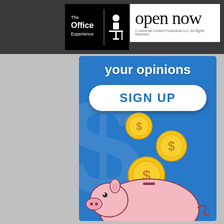[Figure (illustration): The Office Experience logo with black background, white text reading 'The Office Experience' and a person at desk icon]
open now
© Universal Content Productions LLC. All Rights Reserved.
[Figure (illustration): Blue advertisement card with 'your opinions' title at top, white pill-shaped SIGN UP button in blue bold text, three gold dollar-sign coins falling, and a pink cartoon piggy bank at the bottom on a blue background with large watermark dollar sign]